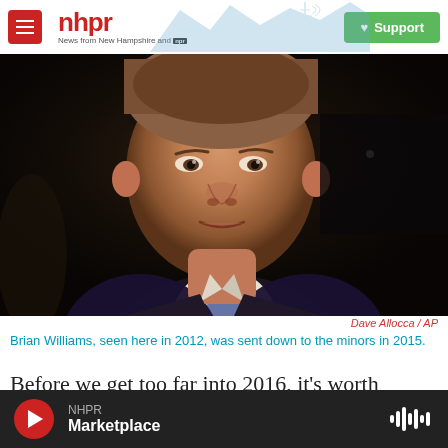nhpr — News from New Hampshire and NPR | Support
[Figure (photo): Close-up portrait of Brian Williams, a middle-aged man in a dark suit and striped blue tie, photographed against a dark background]
Dave Allocca / AP
Brian Williams, seen here in 2012, was sent down to the minors in 2015.
Before we get too far into 2016, it's worth taking one more look at what happened to media in the
NHPR — Marketplace